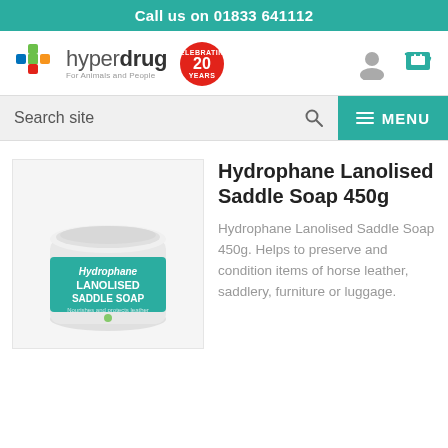Call us on 01833 641112
[Figure (logo): Hyperdrug logo with colourful cross icon, brand name 'hyperdrug', tagline 'For Animals and People', and a celebrating 20 years badge]
Search site
[Figure (screenshot): MENU button with hamburger icon on teal background]
[Figure (photo): Hydrophane Lanolised Saddle Soap 450g product jar — white round tub with teal label reading 'Hydrophane LANOLISED SADDLE SOAP']
Hydrophane Lanolised Saddle Soap 450g
Hydrophane Lanolised Saddle Soap 450g. Helps to preserve and condition items of horse leather, saddlery, furniture or luggage.